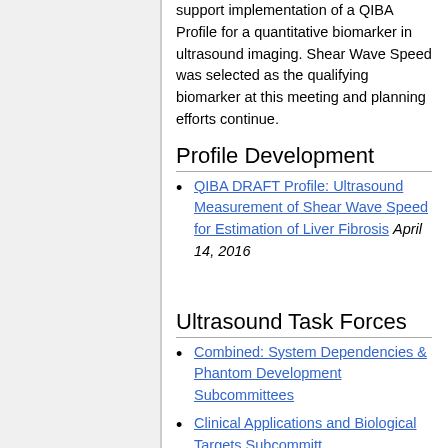support implementation of a QIBA Profile for a quantitative biomarker in ultrasound imaging. Shear Wave Speed was selected as the qualifying biomarker at this meeting and planning efforts continue.
Profile Development
QIBA DRAFT Profile: Ultrasound Measurement of Shear Wave Speed for Estimation of Liver Fibrosis April 14, 2016
Ultrasound Task Forces
Combined: System Dependencies & Phantom Development Subcommittees
Clinical Applications and Biological Targets Subcommittee